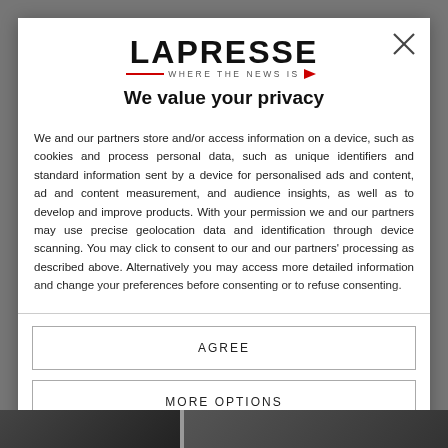[Figure (logo): LaPresse logo with tagline WHERE THE NEWS IS and red arrow/line]
We value your privacy
We and our partners store and/or access information on a device, such as cookies and process personal data, such as unique identifiers and standard information sent by a device for personalised ads and content, ad and content measurement, and audience insights, as well as to develop and improve products. With your permission we and our partners may use precise geolocation data and identification through device scanning. You may click to consent to our and our partners' processing as described above. Alternatively you may access more detailed information and change your preferences before consenting or to refuse consenting.
AGREE
MORE OPTIONS